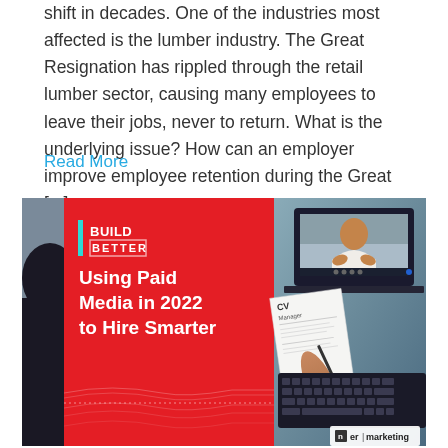shift in decades. One of the industries most affected is the lumber industry. The Great Resignation has rippled through the retail lumber sector, causing many employees to leave their jobs, never to return. What is the underlying issue? How can an employer improve employee retention during the Great [...]
Read More
[Figure (illustration): Promotional graphic with red left panel showing 'BUILD BETTER' branding and headline 'Using Paid Media in 2022 to Hire Smarter', and right panel showing a person on a laptop video call screen with papers and keyboard, with 'er|marketing' logo in bottom right]